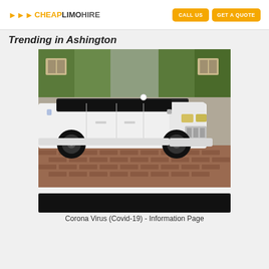CHEAP LIMO HIRE | CALL US | GET A QUOTE
Trending in Ashington
[Figure (photo): White stretch Range Rover Sport limousine parked on brick driveway in front of stone building with ivy, black wheels and black roof]
[Figure (photo): Dark banner image partially visible at bottom]
Corona Virus (Covid-19) - Information Page